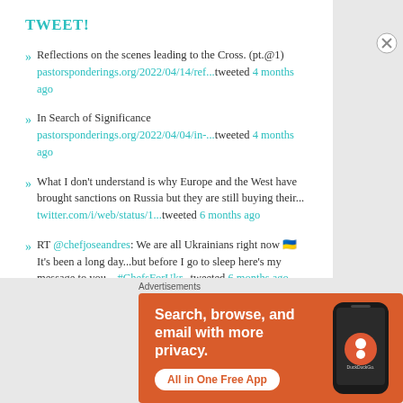TWEET!
Reflections on the scenes leading to the Cross. (pt.@1) pastorsponderings.org/2022/04/14/ref...tweeted 4 months ago
In Search of Significance pastorsponderings.org/2022/04/04/in-...tweeted 4 months ago
What I don't understand is why Europe and the West have brought sanctions on Russia but they are still buying their... twitter.com/i/web/status/1...tweeted 6 months ago
RT @chefjoseandres: We are all Ukrainians right now 🇺🇦 It's been a long day...but before I go to sleep here's my message to you... #ChefsForUkr...tweeted 6 months ago
Something's Worn pastorsponderings.org/2022/02/24/som...
Advertisements
[Figure (screenshot): DuckDuckGo advertisement: orange background with white text 'Search, browse, and email with more privacy. All in One Free App' and a phone image with DuckDuckGo logo]